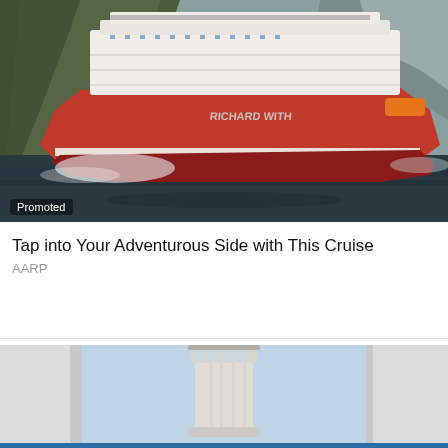[Figure (photo): Large cruise ship named 'Richard With' sailing through a fjord with steep rocky cliffs covered in green moss. The ship has a red hull and white upper decks with passengers visible on deck. Water spray visible at bow. Label 'Promoted' in bottom left corner.]
Tap into Your Adventurous Side with This Cruise
AARP
[Figure (photo): View of a lighthouse tower framed between two white architectural columns or panels, against a clear blue sky. The lighthouse has a cylindrical glass lantern room at top.]